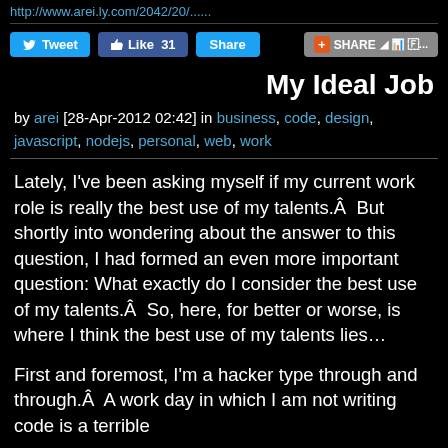http://www.arei.ly.com/2042/20/....
[Figure (screenshot): Social sharing bar with Tweet button, Like 31 button, Share button, and a SHARE addon with icons]
My Ideal Job
by arei [28-Apr-2012 02:42] in business, code, design, javascript, nodejs, personal, web, work
Lately, I've been asking myself if my current work role is really the best use of my talents.Â  But shortly into wondering about the answer to this question, I had formed an even more important question: What exactly do I consider the best use of my talents.Â  So, here, for better or worse, is where I think the best use of my talents lies…
First and foremost, I'm a hacker type through and through.Â  A work day in which I am not writing code is a terrible